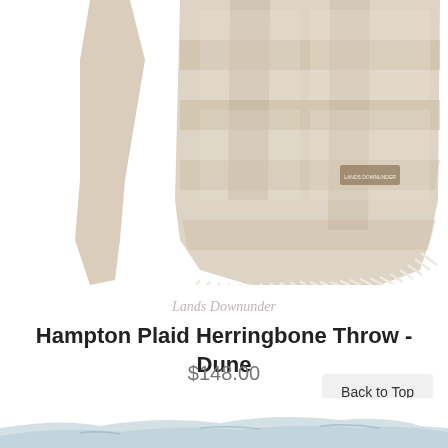[Figure (photo): A beige/dune herringbone plaid throw blanket with cream fringe, hanging and draped to show its pattern and texture]
Lands Downunder
Hampton Plaid Herringbone Throw - Dune
$148.00
Back to Top
[Figure (photo): Partial view of a light blue/grey throw blanket visible at the bottom of the page]